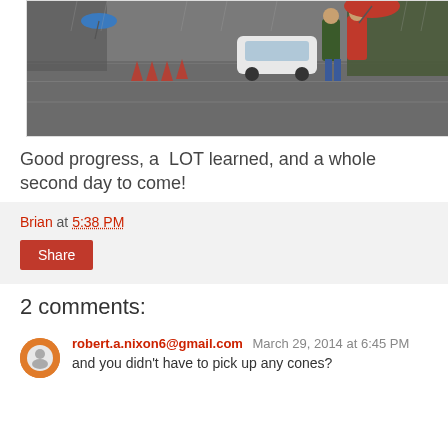[Figure (photo): Two people walking in heavy rain on a flooded road with traffic cones; one person holds a red umbrella, a white car is visible in the background]
Good progress, a  LOT learned, and a whole second day to come!
Brian at 5:38 PM
Share
2 comments:
robert.a.nixon6@gmail.com  March 29, 2014 at 6:45 PM
and you didn't have to pick up any cones?